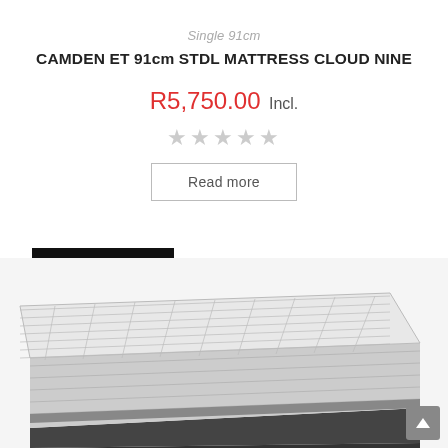Single 91cm
CAMDEN ET 91cm STDL MATTRESS CLOUD NINE
R5,750.00 Incl.
[Figure (other): Five empty star rating icons (no fill, all grey)]
Read more
OUT OF STOCK
[Figure (photo): Photo of a white quilted mattress with dark grey base, viewed from a slight angle, bottom half of page]